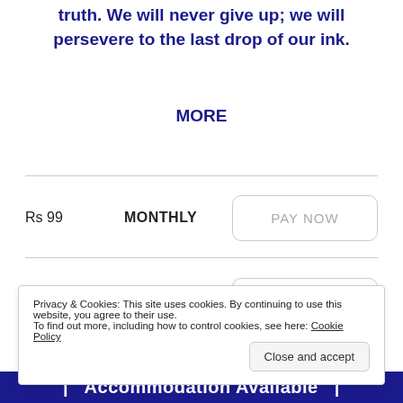truth. We will never give up; we will persevere to the last drop of our ink.
MORE
| Price | Plan | Action |
| --- | --- | --- |
| Rs 99 | MONTHLY | PAY NOW |
| Rs 999 | YEARLY | PAY NOW |
| Rs 10000 | LIFETIME | PAY NOW |
Privacy & Cookies: This site uses cookies. By continuing to use this website, you agree to their use.
To find out more, including how to control cookies, see here: Cookie Policy
Close and accept
Accommodation Available